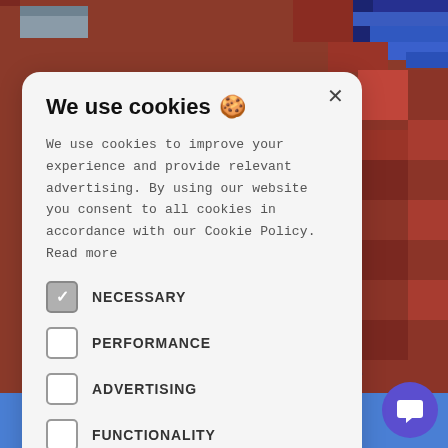[Figure (screenshot): Cookie consent modal dialog overlaid on a pixelated/blocky game-style background with brown/red, blue, and gray colored pixel blocks. A purple chat bubble icon and 'guide' text appear in the bottom right corner.]
We use cookies 🍪
We use cookies to improve your experience and provide relevant advertising. By using our website you consent to all cookies in accordance with our Cookie Policy. Read more
NECESSARY (checked)
PERFORMANCE
ADVERTISING
FUNCTIONALITY
OTHER